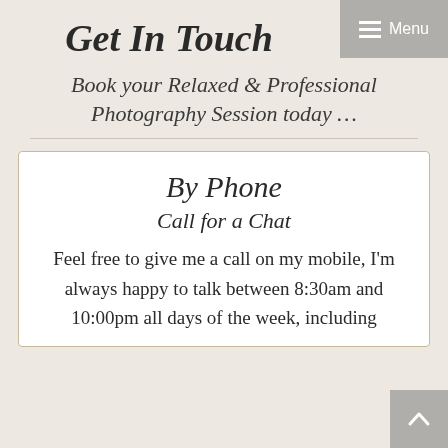Get In Touch
Book your Relaxed & Professional Photography Session today …
By Phone
Call for a Chat
Feel free to give me a call on my mobile, I'm always happy to talk between 8:30am and 10:00pm all days of the week, including